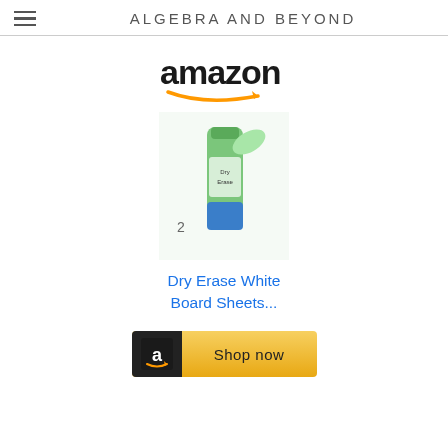ALGEBRA AND BEYOND
[Figure (logo): Amazon logo with orange swoosh arrow]
[Figure (photo): Dry erase whiteboard sheets product photo - green bottle/roll on white background]
Dry Erase White Board Sheets...
[Figure (other): Amazon Shop now button - black 'a' icon on dark background with golden yellow background and 'Shop now' text]